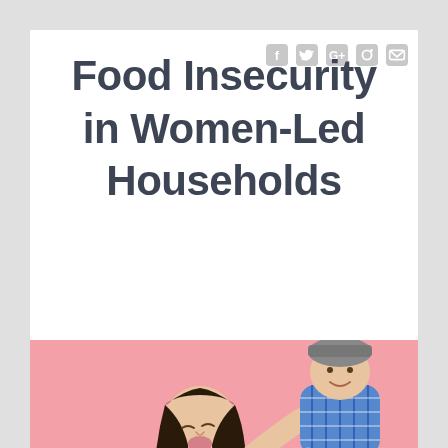Food Insecurity in Women-Led Households
[Figure (photo): A woman kissing a toddler she is holding up, against a pink background. The woman has long dark hair and wears a white top; the child wears a blue plaid shirt and jeans.]